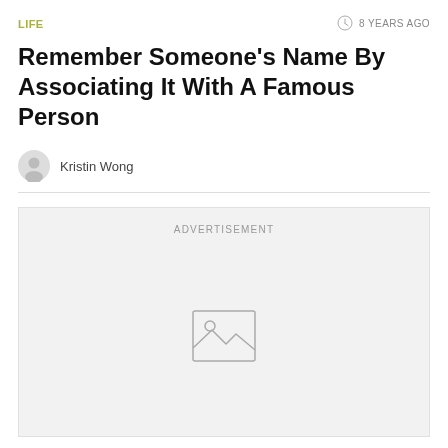LIFE
8 YEARS AGO
Remember Someone's Name By Associating It With A Famous Person
Kristin Wong
[Figure (other): Advertisement placeholder with image icon]